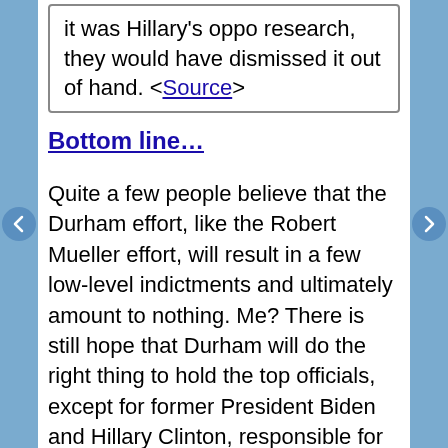it was Hillary's oppo research, they would have dismissed it out of hand. <Source>
Bottom line…
Quite a few people believe that the Durham effort, like the Robert Mueller effort, will result in a few low-level indictments and ultimately amount to nothing. Me? There is still hope that Durham will do the right thing to hold the top officials, except for former President Biden and Hillary Clinton, responsible for their actions – at least in the Court of Public Opinion.
We shall see what we shall see.
We are so screwed.